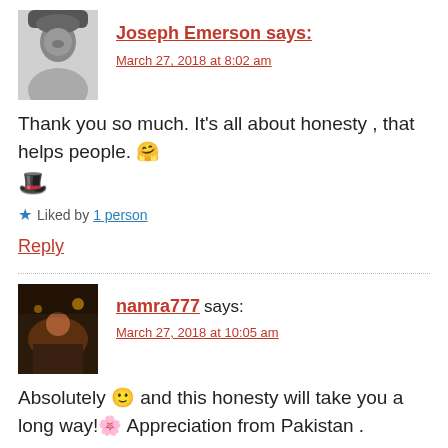Joseph Emerson says:
March 27, 2018 at 8:02 am
Thank you so much. It's all about honesty , that helps people. 🤗 🎩
★ Liked by 1 person
Reply
namra777 says:
March 27, 2018 at 10:05 am
Absolutely 🙂 and this honesty will take you a long way!🌸 Appreciation from Pakistan .